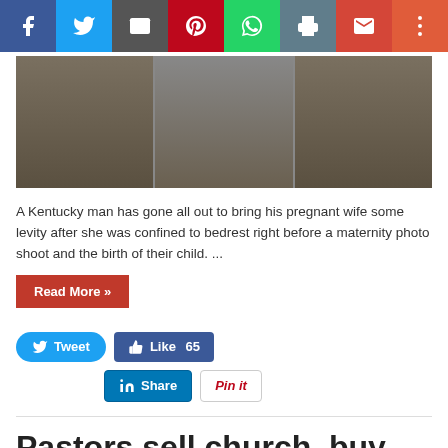[Figure (screenshot): Social share toolbar with buttons: Facebook (blue), Twitter (light blue), Email (dark gray), Pinterest (red), WhatsApp (green), Print (blue-gray), Gmail (red), More (orange-red)]
[Figure (photo): Photo strip showing people standing outdoors near water, cropped at waist level, split into three segments]
A Kentucky man has gone all out to bring his pregnant wife some levity after she was confined to bedrest right before a maternity photo shoot and the birth of their child. ...
Read More »
[Figure (screenshot): Social sharing buttons: Tweet (Twitter blue), Like 65 (Facebook blue), Share (LinkedIn blue), Pin it (Pinterest white/red)]
Pastors sell church, buy million dollar mansion for themselves